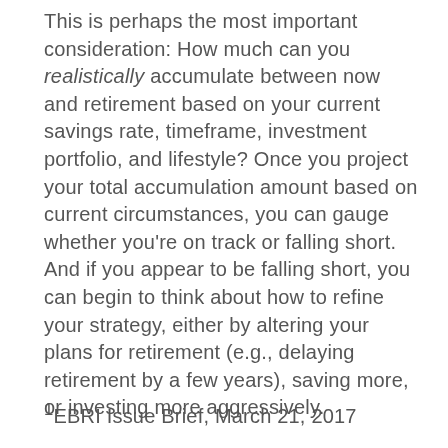This is perhaps the most important consideration: How much can you realistically accumulate between now and retirement based on your current savings rate, timeframe, investment portfolio, and lifestyle? Once you project your total accumulation amount based on current circumstances, you can gauge whether you're on track or falling short. And if you appear to be falling short, you can begin to think about how to refine your strategy, either by altering your plans for retirement (e.g., delaying retirement by a few years), saving more, or investing more aggressively.
¹EBRI Issue Brief, March 21, 2017